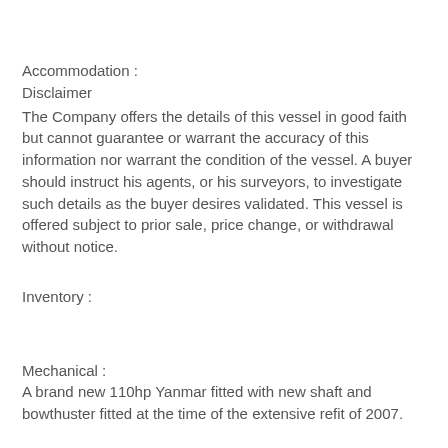Accommodation :
Disclaimer
The Company offers the details of this vessel in good faith but cannot guarantee or warrant the accuracy of this information nor warrant the condition of the vessel. A buyer should instruct his agents, or his surveyors, to investigate such details as the buyer desires validated. This vessel is offered subject to prior sale, price change, or withdrawal without notice.
Inventory :
Mechanical :
A brand new 110hp Yanmar fitted with new shaft and bowthuster fitted at the time of the extensive refit of 2007.